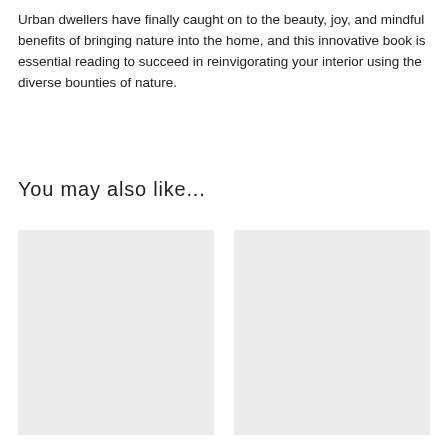Urban dwellers have finally caught on to the beauty, joy, and mindful benefits of bringing nature into the home, and this innovative book is essential reading to succeed in reinvigorating your interior using the diverse bounties of nature.
You may also like...
[Figure (photo): Placeholder image box on the left, light gray background, no content]
[Figure (photo): Placeholder image box on the right, light gray background, no content]